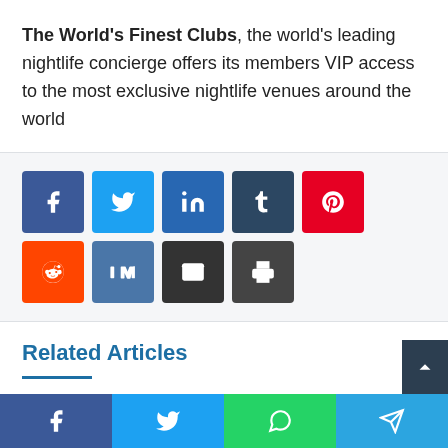The World's Finest Clubs, the world's leading nightlife concierge offers its members VIP access to the most exclusive nightlife venues around the world
[Figure (infographic): Social sharing buttons: Facebook, Twitter, LinkedIn, Tumblr, Pinterest, Reddit, VK, Email, Print]
Related Articles
Annika Sofia Bjorka Appointed Spa Director of Clinique La Prairie
American Airlines to Begin Service Between Anguilla and Miami
[Figure (infographic): Bottom sharing bar: Facebook, Twitter, WhatsApp, Telegram]